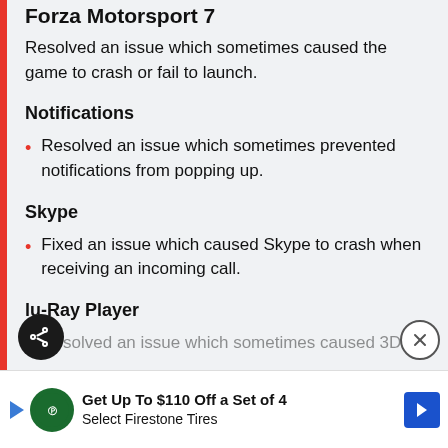Forza Motorsport 7
Resolved an issue which sometimes caused the game to crash or fail to launch.
Notifications
Resolved an issue which sometimes prevented notifications from popping up.
Skype
Fixed an issue which caused Skype to crash when receiving an incoming call.
Blu-Ray Player
Resolved an issue which sometimes caused 3D Bl...
Get Up To $110 Off a Set of 4 Select Firestone Tires